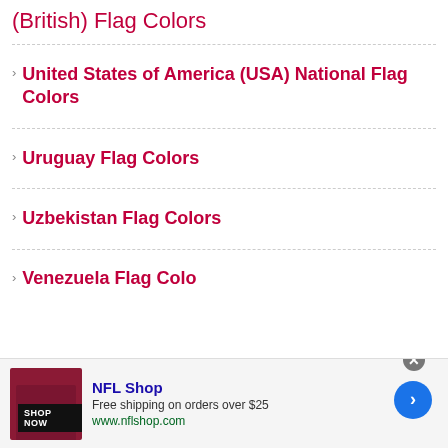(British) Flag Colors
United States of America (USA) National Flag Colors
Uruguay Flag Colors
Uzbekistan Flag Colors
Venezuela Flag Colors (partial)
[Figure (infographic): NFL Shop advertisement banner: dark red jersey image with SHOP NOW button, NFL Shop text in blue, Free shipping on orders over $25, www.nflshop.com, blue arrow button, and close X button]